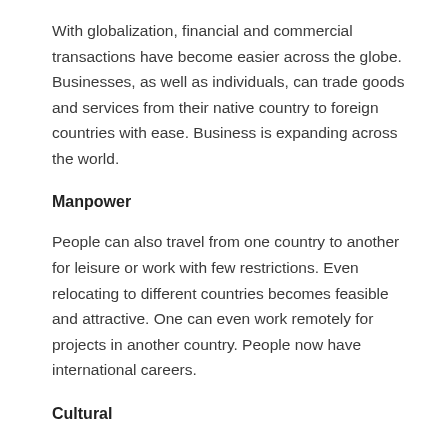With globalization, financial and commercial transactions have become easier across the globe. Businesses, as well as individuals, can trade goods and services from their native country to foreign countries with ease. Business is expanding across the world.
Manpower
People can also travel from one country to another for leisure or work with few restrictions. Even relocating to different countries becomes feasible and attractive. One can even work remotely for projects in another country. People now have international careers.
Cultural
There is a free exchange of music, arts, sports, literature,